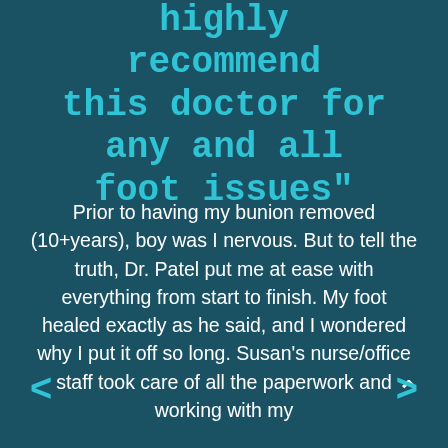highly recommend this doctor for any and all foot issues"
Prior to having my bunion removed (10+years), boy was I nervous. But to tell the truth, Dr. Patel put me at ease with everything from start to finish. My foot healed exactly as he said, and I wondered why I put it off so long. Susan's nurse/office staff took care of all the paperwork and working with my